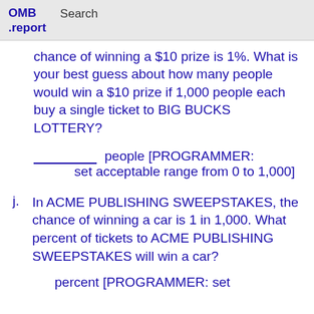OMB .report   Search
chance of winning a $10 prize is 1%. What is your best guess about how many people would win a $10 prize if 1,000 people each buy a single ticket to BIG BUCKS LOTTERY?
________ people [PROGRAMMER: set acceptable range from 0 to 1,000]
j. In ACME PUBLISHING SWEEPSTAKES, the chance of winning a car is 1 in 1,000. What percent of tickets to ACME PUBLISHING SWEEPSTAKES will win a car?
percent [PROGRAMMER: set